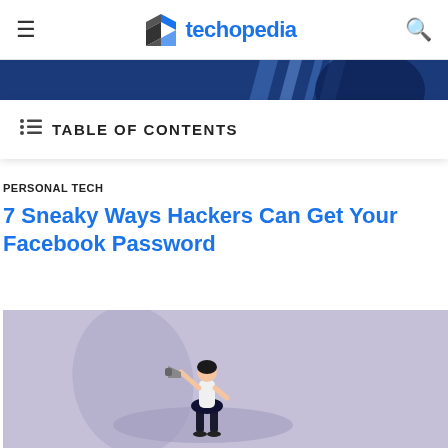techopedia
[Figure (photo): Partial view of a blue-toned image at the top of the article]
TABLE OF CONTENTS
PERSONAL TECH
7 Sneaky Ways Hackers Can Get Your Facebook Password
[Figure (illustration): 3D illustration of a small figure of a woman holding a megaphone, with a shadow on a lavender/purple background]